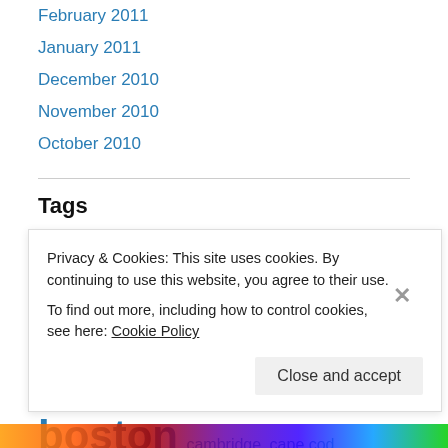February 2011
January 2011
December 2010
November 2010
October 2010
Tags
abstract acrylic architecture art artist arts berkshires book boston cambridge cape cod charcoal chine colle Christmas
Privacy & Cookies: This site uses cookies. By continuing to use this website, you agree to their use. To find out more, including how to control cookies, see here: Cookie Policy
Close and accept